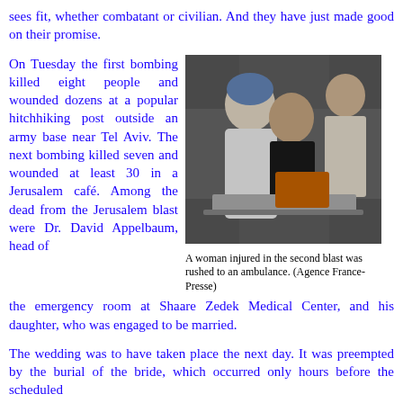sees fit, whether combatant or civilian. And they have just made good on their promise.
On Tuesday the first bombing killed eight people and wounded dozens at a popular hitchhiking post outside an army base near Tel Aviv. The next bombing killed seven and wounded at least 30 in a Jerusalem café. Among the dead from the Jerusalem blast were Dr. David Appelbaum, head of the emergency room at Shaare Zedek Medical Center, and his daughter, who was engaged to be married.
[Figure (photo): A woman injured in the second blast being rushed to an ambulance, supported by paramedics.]
A woman injured in the second blast was rushed to an ambulance. (Agence France-Presse)
The wedding was to have taken place the next day. It was preempted by the burial of the bride, which occurred only hours before the scheduled